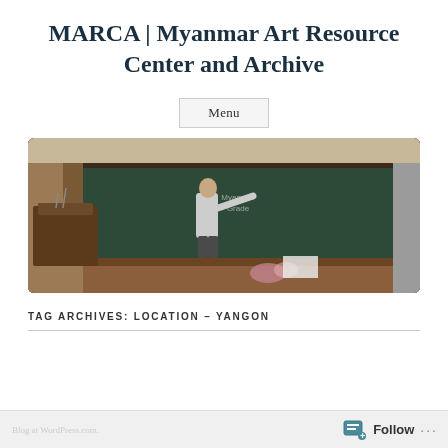MARCA | Myanmar Art Resource Center and Archive
Menu
[Figure (photo): A person writing on a large blackboard in a lecture hall or classroom, with a wooden podium visible on the left side. The blackboard is dark green and the room has wood paneling.]
TAG ARCHIVES: LOCATION – YANGON
Follow ...